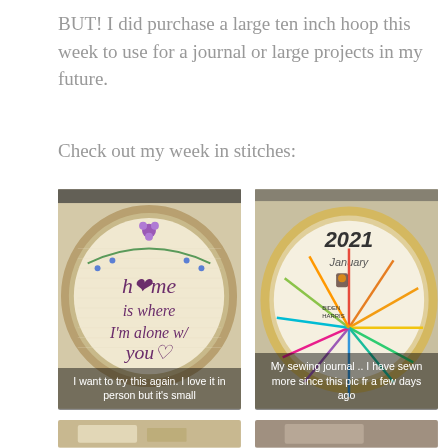BUT! I did purchase a large ten inch hoop this week to use for a journal or large projects in my future.
Check out my week in stitches:
[Figure (photo): Embroidery hoop with text 'home is where I'm alone w/ you' in cursive with floral decorations. Caption: I want to try this again. I love it in person but it's small]
[Figure (photo): Embroidery hoop showing a 2021 sewing journal with colorful radiating threads representing months. Caption: My sewing journal .. I have sewn more since this pic fr a few days ago]
[Figure (photo): Bottom left partial thumbnail photo]
[Figure (photo): Bottom right partial thumbnail photo]